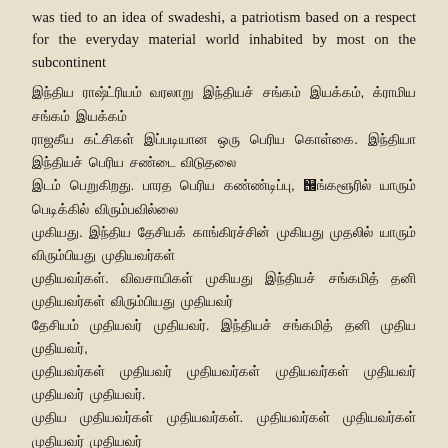was tied to an idea of swadeshi, a patriotism based on a respect for the everyday material world inhabited by most on the subcontinent
[non-Latin script paragraph ending with (see 274)]
To Nehru, secularism was not a substitute civic religion, still less a political project to remoralize society by effacing religion and stamping a secular identity on all Indians. He fully recognized the depth and plurality of religious beliefs in India. It was precisely this that convinced him of the need to keep religious social identities outside the political arena. His energies were directed not towards installing a doctrine of secularism, but against the uses of religion for political purposes, the dangers of what he called 'communalism'. This involved